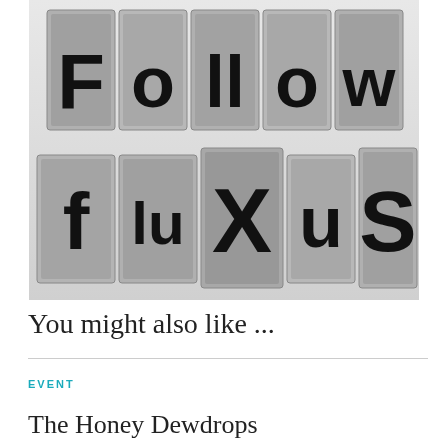[Figure (photo): Black and white photo of vintage metal letterpress blocks arranged to spell 'Follow fluxus' — top row: F, o, ll, o, w; bottom row: f, lu, X, u, S]
You might also like ...
EVENT
The Honey Dewdrops